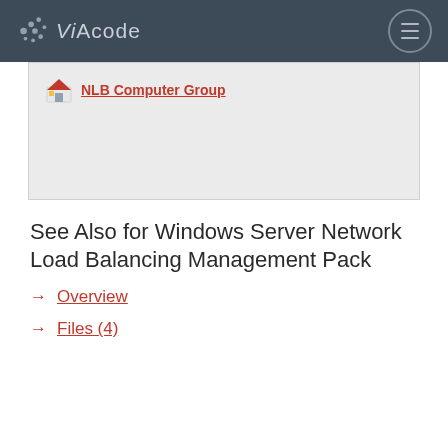VIAcode
[Figure (screenshot): Gray content box showing NLB Computer Group link with house icon]
See Also for Windows Server Network Load Balancing Management Pack
Overview
Files (4)